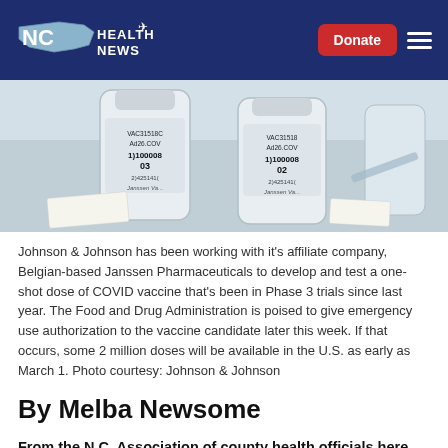[Figure (logo): NC Health News logo on dark navy navigation bar with Donate button and hamburger menu]
[Figure (photo): Two glass vials of Johnson & Johnson / Janssen COVID-19 vaccine (VAC31518 Ad26.COV2, lot numbers 1)100008 02 and 03) on a table with other medical items]
Johnson & Johnson has been working with it's affiliate company, Belgian-based Janssen Pharmaceuticals to develop and test a one-shot dose of COVID vaccine that's been in Phase 3 trials since last year. The Food and Drug Administration is poised to give emergency use authorization to the vaccine candidate later this week. If that occurs, some 2 million doses will be available in the U.S. as early as March 1. Photo courtesy: Johnson & Johnson
By Melba Newsome
From the N.C. Association of county health officials here...